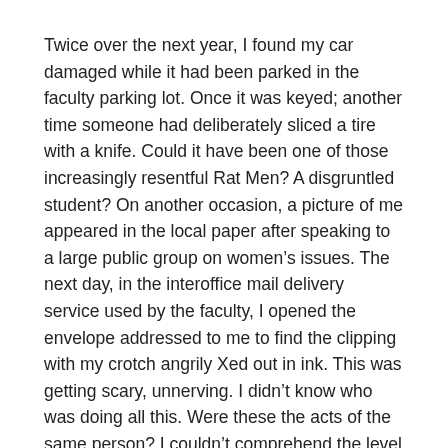Twice over the next year, I found my car damaged while it had been parked in the faculty parking lot. Once it was keyed; another time someone had deliberately sliced a tire with a knife. Could it have been one of those increasingly resentful Rat Men? A disgruntled student? On another occasion, a picture of me appeared in the local paper after speaking to a large public group on women's issues. The next day, in the interoffice mail delivery service used by the faculty, I opened the envelope addressed to me to find the clipping with my crotch angrily Xed out in ink. This was getting scary, unnerving. I didn't know who was doing all this. Were these the acts of the same person? I couldn't comprehend the level of aggression, rage. We were just all doing our jobs, doing our best. Was it because I was a clinician? A woman? Or something more personal? I knew I couldn't go to the chairman with this. I didn't even tell Walt.
I had won the essential battles but I was feeling more than a little paranoid and growing tired of the fight. And the contrast between working with clients in Beaverton versus what felt like